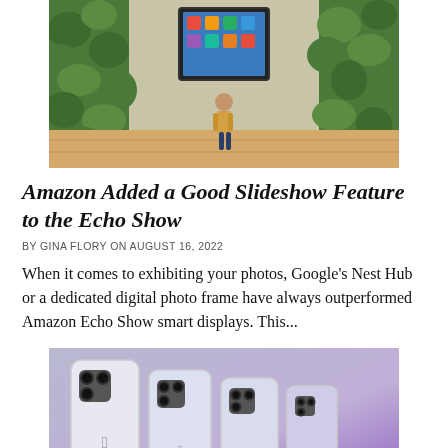[Figure (photo): A woman stands in front of a large Amazon Echo Show smart display mounted on a wall covered in green plants, in an outdoor/indoor venue with wooden flooring.]
Amazon Added a Good Slideshow Feature to the Echo Show
BY GINA FLORY ON AUGUST 16, 2022
When it comes to exhibiting your photos, Google's Nest Hub or a dedicated digital photo frame have always outperformed Amazon Echo Show smart displays. This...
[Figure (photo): Four iPhone 14 Pro models (silver/light blue color) photographed from the back on a purple/lavender gradient background, arranged in descending size order from left to right.]